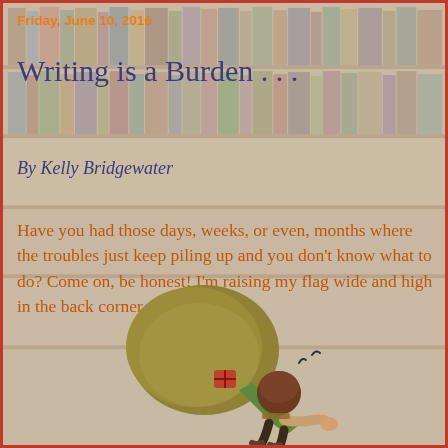Friday, June 10, 2016
Writing is a Burden . . .
By Kelly Bridgewater
Have you had those days, weeks, or even, months where the troubles just keep piling up and you don't know what to do? Come on, be honest! I'm raising my flag wide and high in the back corner.
[Figure (illustration): Cartoon illustration of a person bent over under the weight of a huge heavy bag/burden on their back, with stress lines above their head]